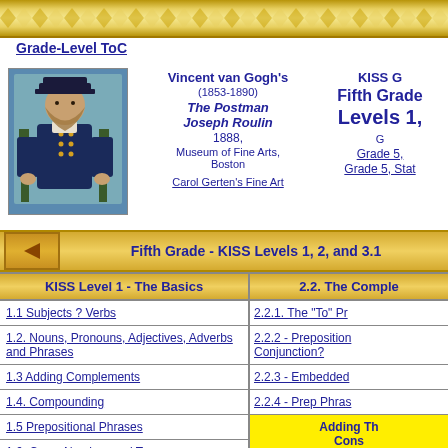Grade-Level ToC
[Figure (illustration): Painting of The Postman Joseph Roulin by Vincent van Gogh, 1888, Museum of Fine Arts, Boston]
Vincent van Gogh's (1853-1890) The Postman Joseph Roulin 1888, Museum of Fine Arts, Boston Carol Gerten's Fine Art
KISS G Fifth Grade Levels 1, G Grade 5, Grade 5, Stat
Fifth Grade - KISS Levels 1, 2, and 3.1
KISS Level 1 - The Basics
2.2. The Comple
1.1 Subjects ? Verbs
2.2.1. The "To" Pr
1.2. Nouns, Pronouns, Adjectives, Adverbs and Phrases
2.2.2 - Preposition Conjunction?
1.3 Adding Complements
2.2.3 - Embedded
1.4. Compounding
2.2.4 - Prep Phras
1.5 Prepositional Phrases
Adding Th Cons
1.6. Case, Number, and Tense
KISS Level 3, 1
1.7. Punctuation and Capitalization